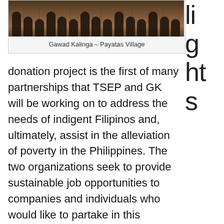[Figure (photo): Group photo of people at Gawad Kalinga – Payatas Village]
Gawad Kalinga – Payatas Village
li g ht s
donation project is the first of many partnerships that TSEP and GK will be working on to address the needs of indigent Filipinos and, ultimately, assist in the alleviation of poverty in the Philippines. The two organizations seek to provide sustainable job opportunities to companies and individuals who would like to partake in this endeavor as localized distributors or retailers, all over the Philippine Islands.
Thrive Solar Energy is a leading manufacturer